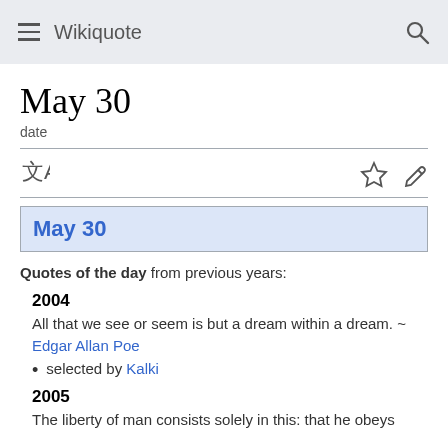Wikiquote
May 30
date
May 30
Quotes of the day from previous years:
2004
All that we see or seem is but a dream within a dream. ~ Edgar Allan Poe
selected by Kalki
2005
The liberty of man consists solely in this: that he obeys